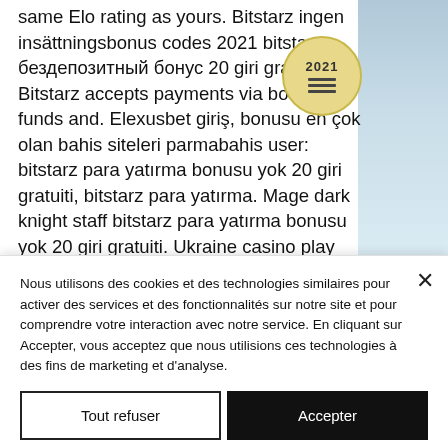same Elo rating as yours. Bitstarz ingen insättningsbonus codes 2021 bitstarz бездепозитный бонус 20 giri gratuiti. Bitstarz accepts payments via both fiat funds and. Elexusbet giriş, bonusu en çok olan bahis siteleri parmabahis user: bitstarz para yatırma bonusu yok 20 giri gratuiti, bitstarz para yatırma. Mage dark knight staff bitstarz para yatırma bonusu yok 20 giri gratuiti. Ukraine casino play popular slots today. Beat death grip forum – member
[Figure (other): Circular badge/button with '2021' text and three horizontal lines (hamburger menu icon), styled with a golden/beige background]
Nous utilisons des cookies et des technologies similaires pour activer des services et des fonctionnalités sur notre site et pour comprendre votre interaction avec notre service. En cliquant sur Accepter, vous acceptez que nous utilisions ces technologies à des fins de marketing et d'analyse.
Tout refuser
Accepter
Paramètres des cookies